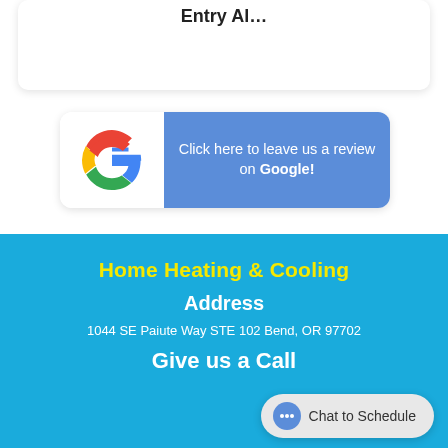[Figure (screenshot): Top portion of a card with partial text visible at top edge]
[Figure (logo): Google review button: Google G logo on left, blue background on right with text 'Click here to leave us a review on Google!']
Home Heating & Cooling
Address
1044 SE Paiute Way STE 102 Bend, OR 97702
Give us a Call
Chat to Schedule